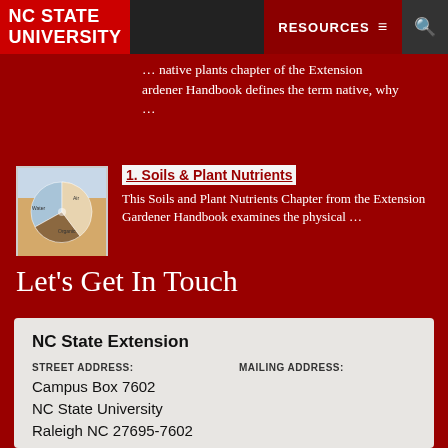NC STATE UNIVERSITY | RESOURCES ☰ 🔍
… native plants chapter of the Extension Gardener Handbook defines the term native, why …
[Figure (pie-chart): Small thumbnail showing a pie chart of soil composition layers]
1. Soils & Plant Nutrients
This Soils and Plant Nutrients Chapter from the Extension Gardener Handbook examines the physical …
Let's Get In Touch
NC State Extension
STREET ADDRESS:
Campus Box 7602
NC State University
Raleigh NC 27695-7602
MAILING ADDRESS:
(919) 515-2811
extension.ncsu.edu